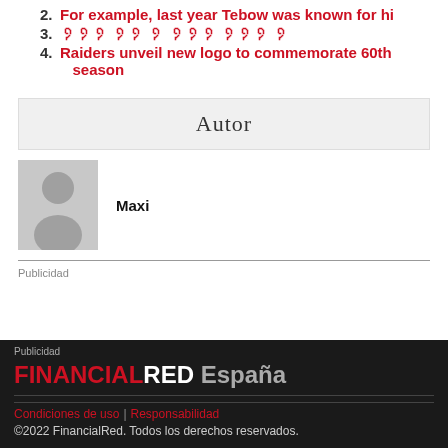2. For example, last year Tebow was known for hi
3. ᠀᠀᠀ ᠀᠀ ᠀ ᠀᠀᠀ ᠀᠀᠀ ᠀
4. Raiders unveil new logo to commemorate 60th season
Autor
[Figure (illustration): Gray placeholder avatar silhouette of a person]
Maxi
Publicidad
Publicidad
FINANCIALRED España
Condiciones de uso | Responsabilidad
©2022 FinancialRed. Todos los derechos reservados.